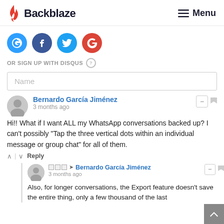Backblaze | Menu
[Figure (screenshot): Social login icons: Disqus (blue), Facebook (dark blue), Twitter (light blue), Google (red)]
OR SIGN UP WITH DISQUS ?
Name
Bernardo García Jiménez
3 months ago
Hi!! What if I want ALL my WhatsApp conversations backed up? I can't possibly "Tap the three vertical dots within an individual message or group chat" for all of them.
^ | v Reply
□□□ → Bernardo García Jiménez
3 months ago
Also, for longer conversations, the Export feature doesn't save the entire thing, only a few thousand of the last